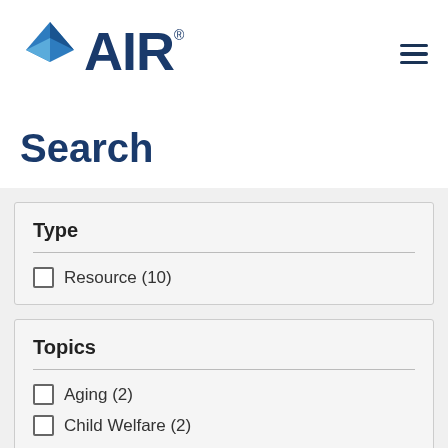[Figure (logo): AIR (American Institutes for Research) logo with blue diamond/chevron icon and AIR text in dark blue]
Search
Type
Resource (10)
Topics
Aging (2)
Child Welfare (2)